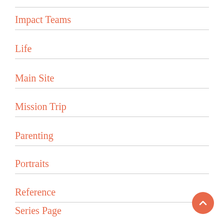Impact Teams
Life
Main Site
Mission Trip
Parenting
Portraits
Reference
Series Page